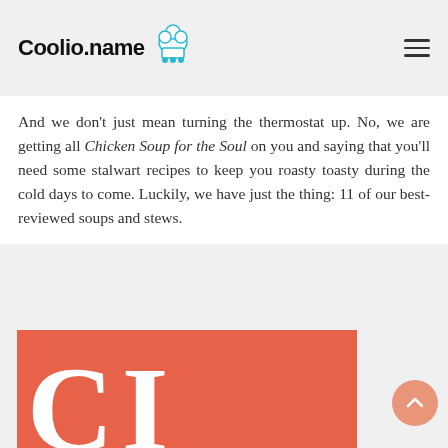Coolio.name
And we don't just mean turning the thermostat up. No, we are getting all Chicken Soup for the Soul on you and saying that you'll need some stalwart recipes to keep you roasty toasty during the cold days to come. Luckily, we have just the thing: 11 of our best-reviewed soups and stews.
[Figure (logo): Red/coral background with large white letters 'CI' partially visible, representing a recipe or cooking publication logo]